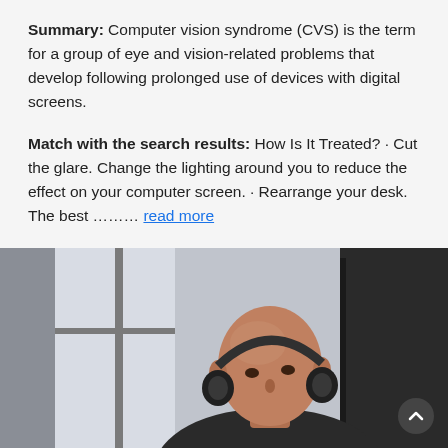Summary: Computer vision syndrome (CVS) is the term for a group of eye and vision-related problems that develop following prolonged use of devices with digital screens.
Match with the search results: How Is It Treated? · Cut the glare. Change the lighting around you to reduce the effect on your computer screen. · Rearrange your desk. The best ……. read more
[Figure (photo): A bald man with headphones around his neck sitting at a desk looking at a computer monitor, photographed in an office with large windows in the background.]